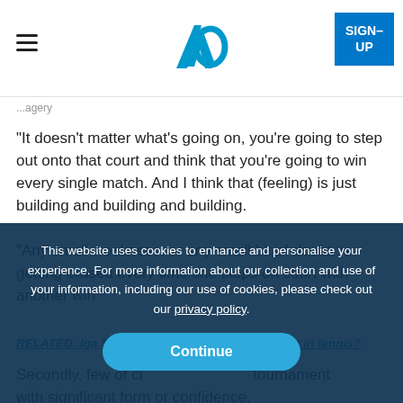Australian Open logo | SIGN-UP
...agery
"It doesn't matter what's going on, you're going to step out onto that court and think that you're going to win every single match. And I think that (feeling) is just building and building and building.
"Any small weakness, or any small bit of doubt, is getting erased every time she steps on court with another win
This website uses cookies to enhance and personalise your experience. For more information about our collection and use of your information, including our use of cookies, please check out our privacy policy.
RELATED: Iga Swiatek – the most ruthless player in tennis?
Secondly, few of   tournament with significant form or confidence.